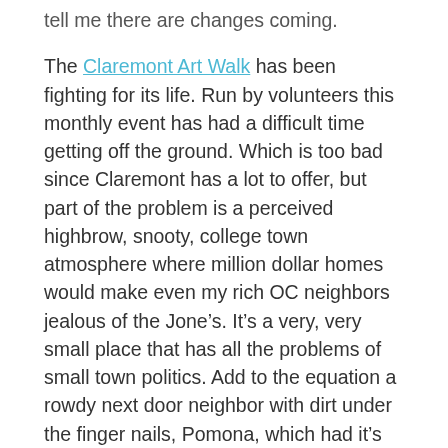tell me there are changes coming.
The Claremont Art Walk has been fighting for its life. Run by volunteers this monthly event has had a difficult time getting off the ground. Which is too bad since Claremont has a lot to offer, but part of the problem is a perceived highbrow, snooty, college town atmosphere where million dollar homes would make even my rich OC neighbors jealous of the Jone’s. It’s a very, very small place that has all the problems of small town politics. Add to the equation a rowdy next door neighbor with dirt under the finger nails, Pomona, which had it’s own downtown art scene that burgeoned for more than a decade, but is now fizzling out. Now Claremont is finding itself in a place that it is not really accustomed to bringing in a scruffier crowd.
When you cross under the freeway the tension